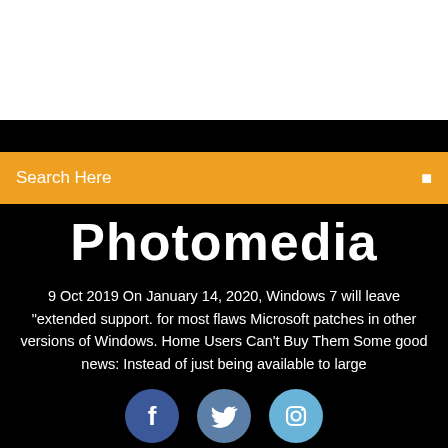[Figure (screenshot): White top area of a website screenshot]
Search Here
Photomedia
9 Oct 2019 On January 14, 2020, Windows 7 will leave "extended support. for most flaws Microsoft patches in other versions of Windows. Home Users Can't Buy Them Some good news: Instead of just being available to large
[Figure (illustration): Three social media icons: Facebook (blue circle with f), Twitter (medium blue circle with bird), Instagram (light blue circle with camera icon)]